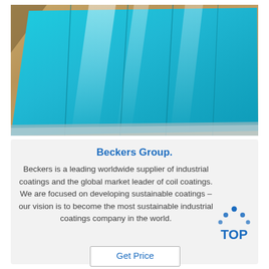[Figure (photo): Photo of blue-coated metal sheets (coil coatings) laid out on a brown surface, showing reflective teal/turquoise surface with light reflections and dark lines]
Beckers Group.
Beckers is a leading worldwide supplier of industrial coatings and the global market leader of coil coatings. We are focused on developing sustainable coatings – our vision is to become the most sustainable industrial coatings company in the world.
[Figure (logo): TOP logo: blue dots arranged in a triangular pattern above the text 'TOP' in blue]
Get Price